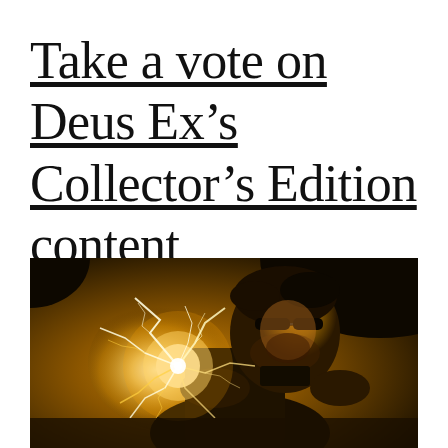Take a vote on Deus Ex’s Collector’s Edition content
[Figure (photo): A video game character (Adam Jensen from Deus Ex) leaning forward with golden/white electricity crackling around him, wearing sunglasses, dark dramatic lighting with warm golden tones]